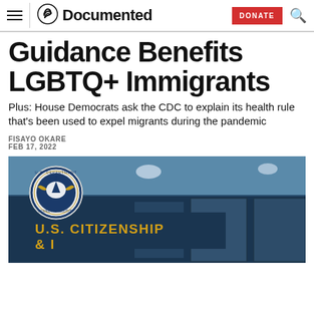Documented
Guidance Benefits LGBTQ+ Immigrants
Plus: House Democrats ask the CDC to explain its health rule that's been used to expel migrants during the pandemic
FISAYO OKARE
FEB 17, 2022
[Figure (photo): Exterior photo of U.S. Citizenship and Immigration Services building showing signage with U.S. Department of Homeland Security seal]